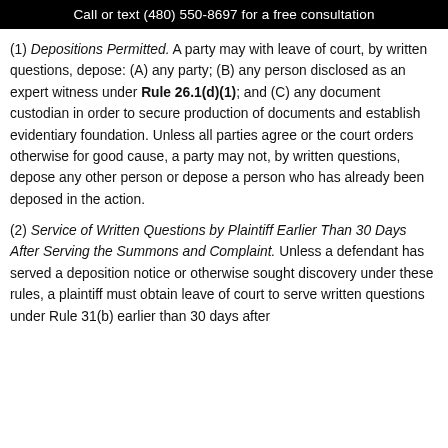Call or text (480) 550-8697 for a free consultation
(1) Depositions Permitted. A party may with leave of court, by written questions, depose: (A) any party; (B) any person disclosed as an expert witness under Rule 26.1(d)(1); and (C) any document custodian in order to secure production of documents and establish evidentiary foundation. Unless all parties agree or the court orders otherwise for good cause, a party may not, by written questions, depose any other person or depose a person who has already been deposed in the action.
(2) Service of Written Questions by Plaintiff Earlier Than 30 Days After Serving the Summons and Complaint. Unless a defendant has served a deposition notice or otherwise sought discovery under these rules, a plaintiff must obtain leave of court to serve written questions under Rule 31(b) earlier than 30 days after